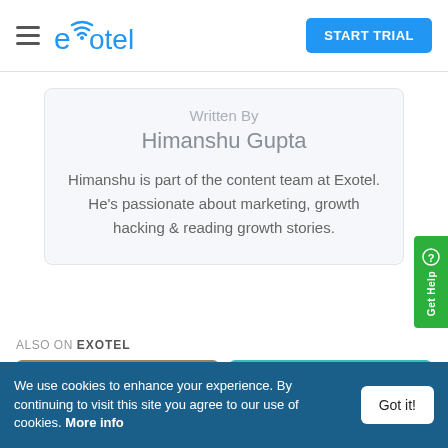exotel | START TRIAL
Written By
Himanshu Gupta
Himanshu is part of the content team at Exotel. He's passionate about marketing, growth hacking & reading growth stories.
ALSO ON EXOTEL
[Figure (photo): Two article thumbnail images side by side, left is a warm brown photo, right is a teal/turquoise background]
We use cookies to enhance your experience. By continuing to visit this site you agree to our use of cookies. More info